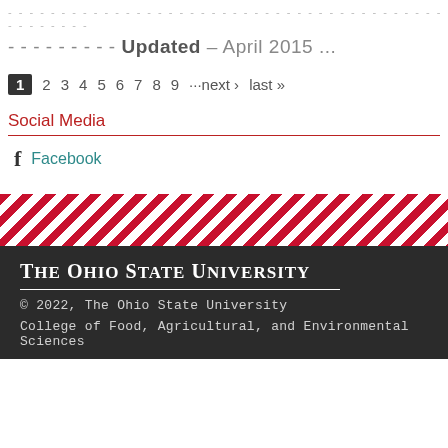- - - - - - - - - - - - - - - - - - - - - - - - - - - - - - - - - - - - - - - - - - - - - - - - - -
- - - - - - - - - Updated – April 2015 ...
1 2 3 4 5 6 7 8 9 ···next › last »
Social Media
f Facebook
[Figure (illustration): Diagonal red and white stripe banner pattern]
The Ohio State University
© 2022, The Ohio State University
College of Food, Agricultural, and Environmental Sciences